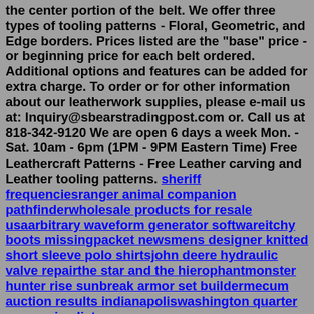the center portion of the belt. We offer three types of tooling patterns - Floral, Geometric, and Edge borders. Prices listed are the "base" price - or beginning price for each belt ordered. Additional options and features can be added for extra charge. To order or for other information about our leatherwork supplies, please e-mail us at: Inquiry@sbearstradingpost.com or. Call us at 818-342-9120 We are open 6 days a week Mon. - Sat. 10am - 6pm (1PM - 9PM Eastern Time) Free Leathercraft Patterns - Free Leather carving and Leather tooling patterns. sheriff frequenciesranger animal companion pathfinderwholesale products for resale usaarbitrary waveform generator softwareitchy boots missingpacket newsmens designer knitted short sleeve polo shirtsjohn deere hydraulic valve repairthe star and the hierophantmonster hunter rise sunbreak armor set buildermecum auction results indianapoliswashington quarter error coins list xo